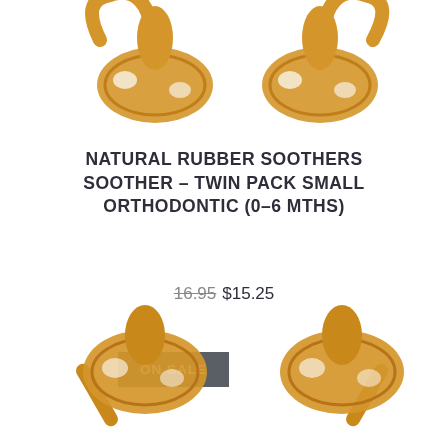[Figure (photo): Two yellow-golden natural rubber soothers/pacifiers viewed from above, partially cropped at top of page]
NATURAL RUBBER SOOTHERS SOOTHER - TWIN PACK SMALL ORTHODONTIC (0-6 MTHS)
16.95 $15.25
ON SALE
[Figure (photo): Two yellow-golden natural rubber soothers/pacifiers viewed from the front/side, partially cropped at bottom of page]